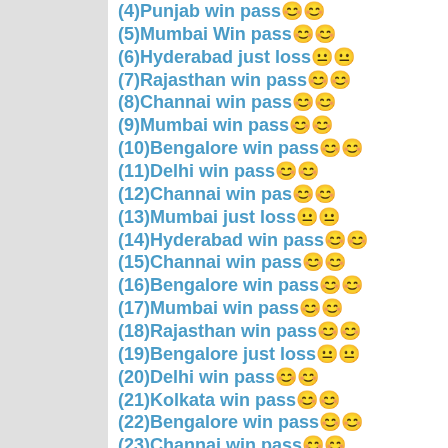(4)Punjab win pass😊😊
(5)Mumbai Win pass😊😊
(6)Hyderabad just loss😐😐
(7)Rajasthan win pass😊😊
(8)Channai win pass😊😊
(9)Mumbai win pass😊😊
(10)Bengalore win pass😊😊
(11)Delhi win pass😊😊
(12)Channai win pas😊😊
(13)Mumbai just loss😐😐
(14)Hyderabad win pass😊😊
(15)Channai win pass😊😊
(16)Bengalore win pass😊😊
(17)Mumbai win pass😊😊
(18)Rajasthan win pass😊😊
(19)Bengalore just loss😐😐
(20)Delhi win pass😊😊
(21)Kolkata win pass😊😊
(22)Bengalore win pass😊😊
(23)Channai win pass😊😊
(24)Mumbai win pass😊😊
(25)Delhi win pass😊😊
(26)Punjab win pass😊😊